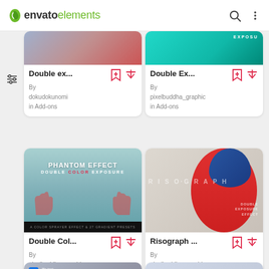envato elements
[Figure (screenshot): Envato Elements app screenshot showing a grid of design items: Double ex... by dokudokunomi in Add-ons, Double Ex... by pixelbuddha_graphic in Add-ons, Double Col... by pixelbuddha_graphic in Add-ons, Risograph ... by pixelbuddha_graphic in Add-ons, plus two partially visible items at bottom.]